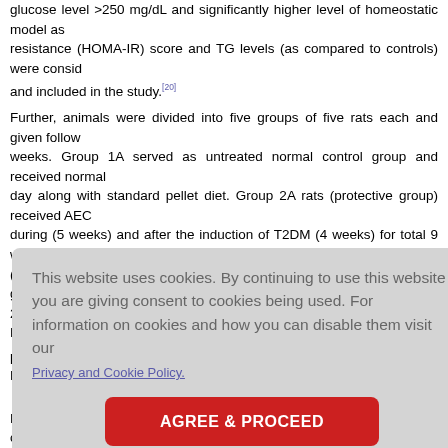serum insulin, and triglycerides (TG) levels were measured after 3 days of STZ. Rats with blood glucose level >250 mg/dL and significantly higher level of homeostatic model assessment of insulin resistance (HOMA-IR) score and TG levels (as compared to controls) were considered as diabetic and included in the study.[20]
Further, animals were divided into five groups of five rats each and given following treatments for 9 weeks. Group 1A served as untreated normal control group and received normal saline at 10 mL/kg/day along with standard pellet diet. Group 2A rats (protective group) received AECIS (200 mg/kg BW/day) during (5 weeks) and after the induction of T2DM (4 weeks) for total 9 weeks of study. Group 3A rats (diabetic control) received normal saline. Group 4A diabetic rats were given extract of Cissus quadrangularis, 200 mg/kg BW/day (AECIS treatment). The dose of AECIS (200 mg/kg BW/day) was based on pharmacopeia dose and calculated on the basis of extract value.[21] Moreover, sta...
[Figure (screenshot): Cookie consent overlay dialog with grey background. Text reads: 'This website uses cookies. By continuing to use this website you are giving consent to cookies being used. For information on cookies and how you can disable them visit our Privacy and Cookie Policy.' Below is a red button labeled 'AGREE & PROCEED'.]
fasted (wat... ictive blood... ose, total ch... istry analyze... plasma glu... ne [GSH], a... cols.
Further, another set of rats (3 groups, named normal control, diabetic control,